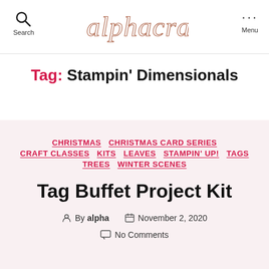alphacrafts — Search | Menu
Tag: Stampin' Dimensionals
CHRISTMAS  CHRISTMAS CARD SERIES  CRAFT CLASSES  KITS  LEAVES  STAMPIN' UP!  TAGS  TREES  WINTER SCENES
Tag Buffet Project Kit
By alpha  November 2, 2020
No Comments